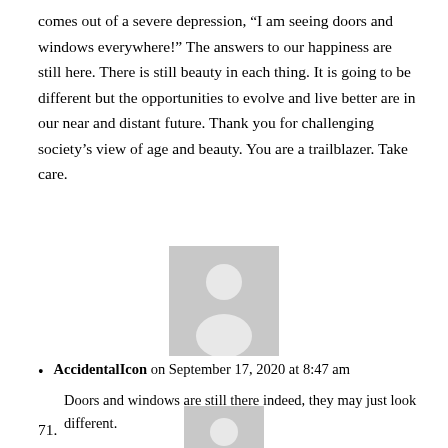comes out of a severe depression, “I am seeing doors and windows everywhere!” The answers to our happiness are still here. There is still beauty in each thing. It is going to be different but the opportunities to evolve and live better are in our near and distant future. Thank you for challenging society’s view of age and beauty. You are a trailblazer. Take care.
[Figure (illustration): Gray silhouette placeholder avatar icon of a person, centered on the page.]
AccidentalIcon on September 17, 2020 at 8:47 am
Doors and windows are still there indeed, they may just look different.
71.
[Figure (illustration): Partial gray silhouette placeholder avatar icon, cropped at the bottom of the page.]